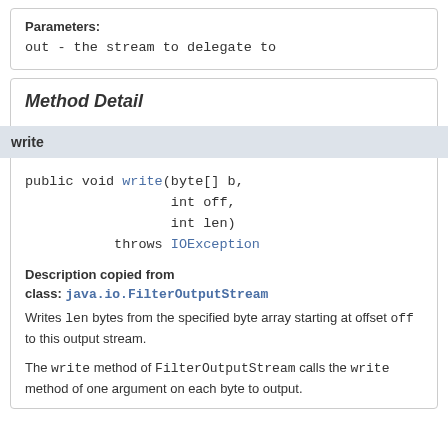Parameters:
out - the stream to delegate to
Method Detail
write
public void write(byte[] b,
                  int off,
                  int len)
           throws IOException
Description copied from class: java.io.FilterOutputStream
Writes len bytes from the specified byte array starting at offset off to this output stream.
The write method of FilterOutputStream calls the write method of one argument on each byte to output.